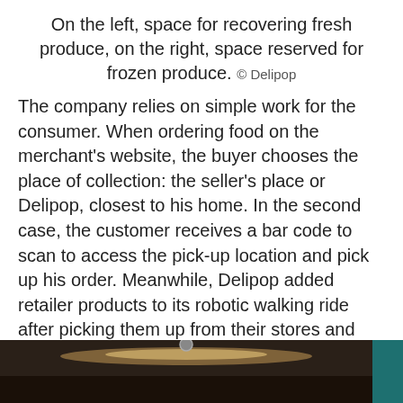On the left, space for recovering fresh produce, on the right, space reserved for frozen produce. © Delipop
The company relies on simple work for the consumer. When ordering food on the merchant's website, the buyer chooses the place of collection: the seller's place or Delipop, closest to his home. In the second case, the customer receives a bar code to scan to access the pick-up location and pick up his order. Meanwhile, Delipop added retailer products to its robotic walking ride after picking them up from their stores and storing them in its warehouses in Gennevilliers and near Orly.
[Figure (photo): Bottom portion of a photo showing what appears to be a dark interior with a light streak/reflection visible, and a teal strip on the right edge. A small circular element is visible at the top of the photo.]